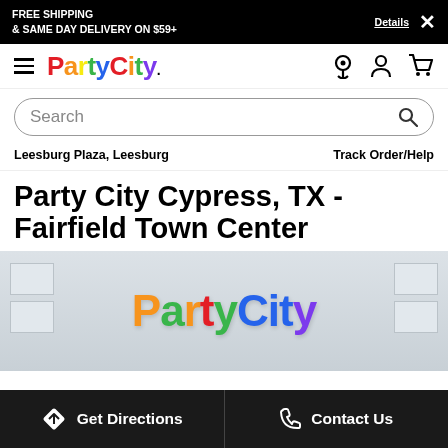FREE SHIPPING & SAME DAY DELIVERY ON $59+ Details ×
[Figure (logo): Party City logo with hamburger menu]
Search
Leesburg Plaza, Leesburg
Track Order/Help
Party City Cypress, TX - Fairfield Town Center
[Figure (photo): Party City store front showing the Party City logo in colorful letters on a beige/grey facade]
Get Directions
Contact Us